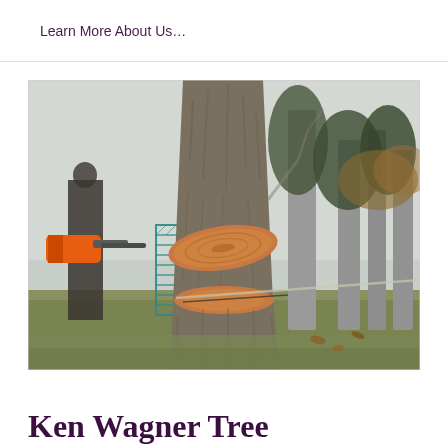Learn More About Us…
[Figure (photo): A large tree trunk being cut down with a chainsaw. The tree is mid-fall showing a fresh cut cross-section. A person with an orange chainsaw is visible on the left. A teal chain-link fence and other trees are in the background. The scene is set in winter/early spring.]
Ken Wagner Tree